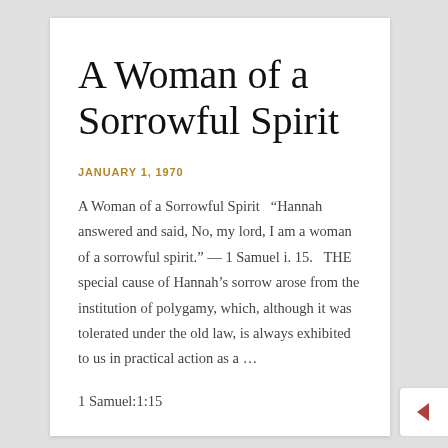A Woman of a Sorrowful Spirit
JANUARY 1, 1970
A Woman of a Sorrowful Spirit “Hannah answered and said, No, my lord, I am a woman of a sorrowful spirit.” — 1 Samuel i. 15.   THE special cause of Hannah’s sorrow arose from the institution of polygamy, which, although it was tolerated under the old law, is always exhibited to us in practical action as a …
1 Samuel:1:15